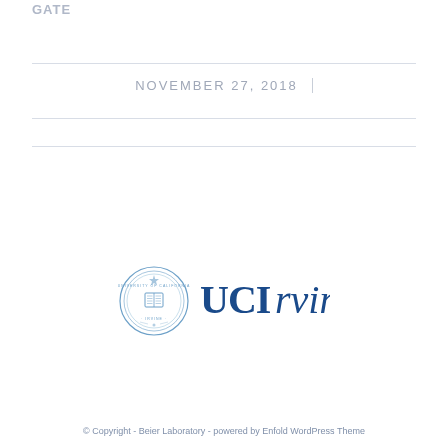GATE
NOVEMBER 27, 2018
[Figure (logo): UCI Irvine logo with circular university seal and blue text reading UCIrvine]
© Copyright - Beier Laboratory - powered by Enfold WordPress Theme